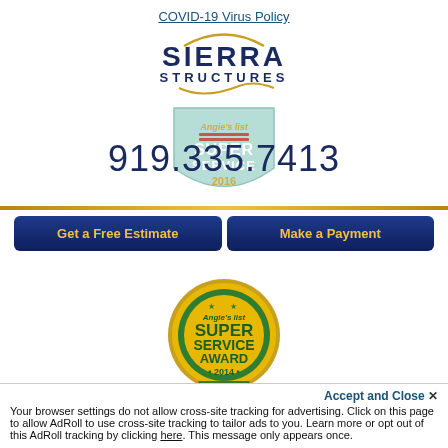COVID-19 Virus Policy
[Figure (logo): Sierra Structures company logo with stylized font and decorative swish]
[Figure (other): Angie's List Super Service 2016 shield badge (light blue/teal)]
919.335.7413
Get a Free Estimate
Make a Payment
[Figure (other): Angie's list Super Service Award 2014 gold medal badge with green ribbon]
Accept and Close ✕
Your browser settings do not allow cross-site tracking for advertising. Click on this page to allow AdRoll to use cross-site tracking to tailor ads to you. Learn more or opt out of this AdRoll tracking by clicking here. This message only appears once.